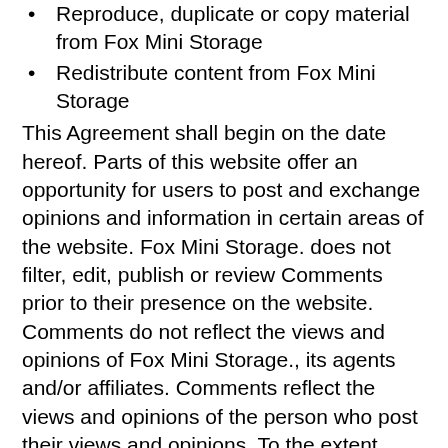Reproduce, duplicate or copy material from Fox Mini Storage
Redistribute content from Fox Mini Storage
This Agreement shall begin on the date hereof. Parts of this website offer an opportunity for users to post and exchange opinions and information in certain areas of the website. Fox Mini Storage. does not filter, edit, publish or review Comments prior to their presence on the website. Comments do not reflect the views and opinions of Fox Mini Storage., its agents and/or affiliates. Comments reflect the views and opinions of the person who post their views and opinions. To the extent permitted by applicable laws, Fox Mini Storage. shall not be liable for the Comments or for any liability, damages or expenses caused and/or suffered as a result of any use of and/or posting of and/or appearance of the Comments on this website. Fox Mini Storage. reserves the right to monitor all Comments and to remove any Comments